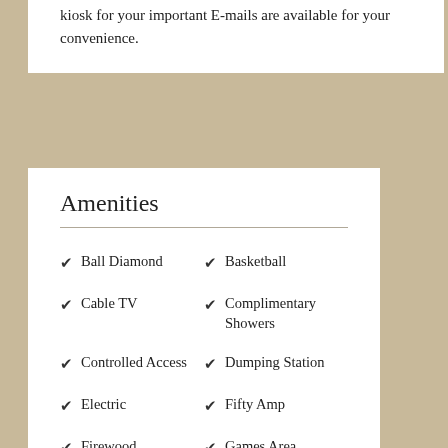kiosk for your important E-mails are available for your convenience.
Amenities
Ball Diamond
Basketball
Cable TV
Complimentary Showers
Controlled Access
Dumping Station
Electric
Fifty Amp
Firewood
Games Area
General Store
Horseshoes
Ice
Laundromat